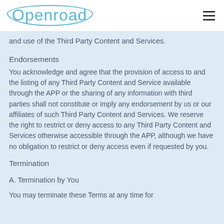Openroad
and use of the Third Party Content and Services.
Endorsements
You acknowledge and agree that the provision of access to and the listing of any Third Party Content and Service available through the APP or the sharing of any information with third parties shall not constitute or imply any endorsement by us or our affiliates of such Third Party Content and Services. We reserve the right to restrict or deny access to any Third Party Content and Services otherwise accessible through the APP, although we have no obligation to restrict or deny access even if requested by you.
Termination
A. Termination by You
You may terminate these Terms at any time for